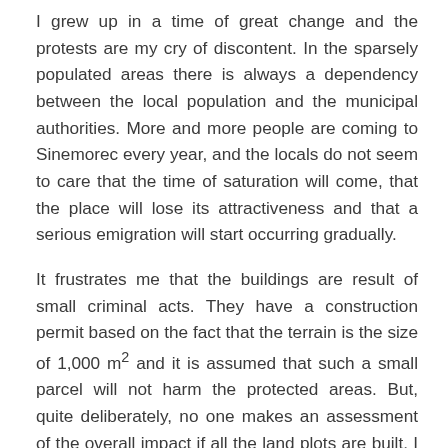I grew up in a time of great change and the protests are my cry of discontent. In the sparsely populated areas there is always a dependency between the local population and the municipal authorities. More and more people are coming to Sinemorec every year, and the locals do not seem to care that the time of saturation will come, that the place will lose its attractiveness and that a serious emigration will start occurring gradually.
It frustrates me that the buildings are result of small criminal acts. They have a construction permit based on the fact that the terrain is the size of 1,000 m² and it is assumed that such a small parcel will not harm the protected areas. But, quite deliberately, no one makes an assessment of the overall impact if all the land plots are built. I do not know the people who build here. The last one is an architect and I am